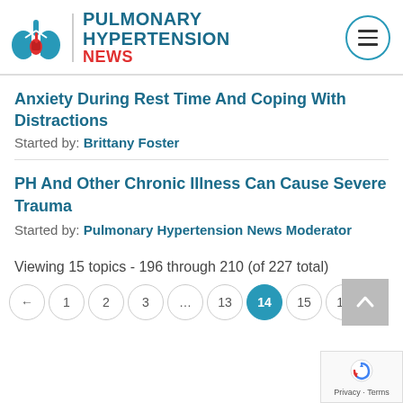[Figure (logo): Pulmonary Hypertension News logo with lungs illustration]
Anxiety During Rest Time And Coping With Distractions
Started by: Brittany Foster
PH And Other Chronic Illness Can Cause Severe Trauma
Started by: Pulmonary Hypertension News Moderator
Viewing 15 topics - 196 through 210 (of 227 total)
← 1 2 3 … 13 14 15 16